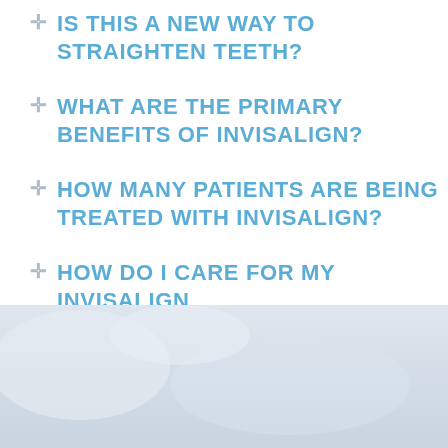IS THIS A NEW WAY TO STRAIGHTEN TEETH?
WHAT ARE THE PRIMARY BENEFITS OF INVISALIGN?
HOW MANY PATIENTS ARE BEING TREATED WITH INVISALIGN?
HOW DO I CARE FOR MY INVISALIGN
[Figure (photo): Light blue/grey gradient background image in the lower portion of the page]